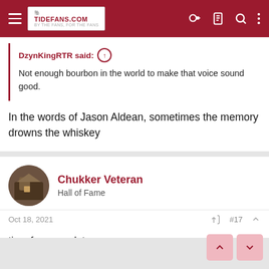TideFans.com
DzynKingRTR said: Not enough bourbon in the world to make that voice sound good.
In the words of Jason Aldean, sometimes the memory drowns the whiskey
Chukker Veteran
Hall of Fame
Oct 18, 2021  #17
time for an update